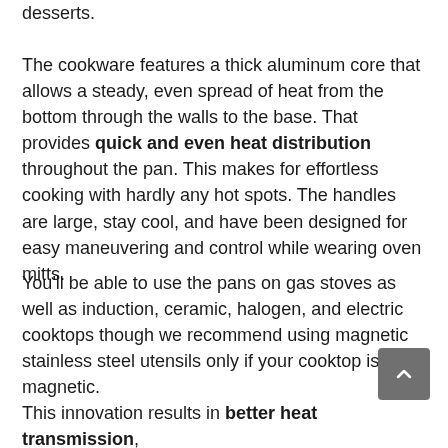desserts.
The cookware features a thick aluminum core that allows a steady, even spread of heat from the bottom through the walls to the base. That provides quick and even heat distribution throughout the pan. This makes for effortless cooking with hardly any hot spots. The handles are large, stay cool, and have been designed for easy maneuvering and control while wearing oven mitts.
You'll be able to use the pans on gas stoves as well as induction, ceramic, halogen, and electric cooktops though we recommend using magnetic stainless steel utensils only if your cooktop is magnetic.
This innovation results in better heat transmission,